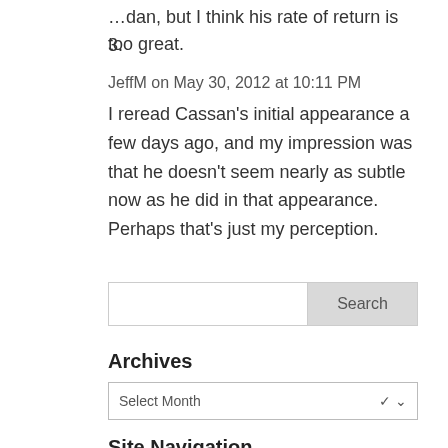…dan, but I think his rate of return is too great.
3.
JeffM on May 30, 2012 at 10:11 PM
I reread Cassan's initial appearance a few days ago, and my impression was that he doesn't seem nearly as subtle now as he did in that appearance. Perhaps that's just my perception.
Search
Archives
Select Month
Site Navigation